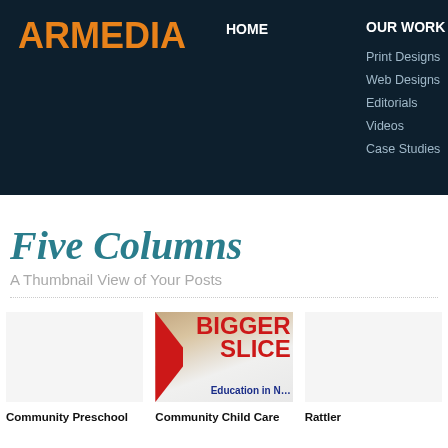ARMEDIA | HOME | OUR WORK (Print Designs, Web Designs, Editorials, Videos, Case Studies) | ABOUT (Services, Our Team, Awards, Clients, Testimonials)
Five Columns
A Thumbnail View of Your Posts
[Figure (photo): A protest sign reading 'BIGGER SLICE' related to education in NSW]
Community Preschool
Community Child Care
Rattler